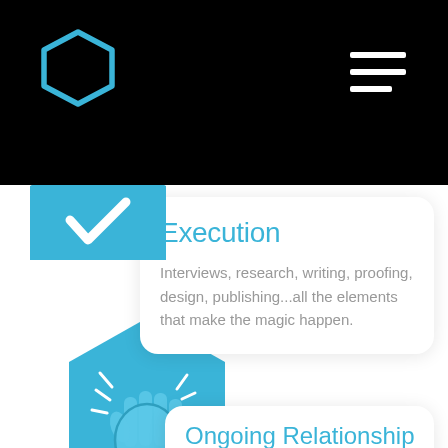[Figure (logo): Black navigation bar with blue hexagon outline logo on left and white hamburger menu icon on right]
[Figure (illustration): Blue solid hexagon icon with partial visibility, used as a section marker for Execution]
Execution
Interviews, research, writing, proofing, design, publishing...all the elements that make the magic happen.
[Figure (illustration): Blue solid hexagon icon with a clapping hands / high-five illustration inside, for Ongoing Relationship section]
Ongoing Relationship